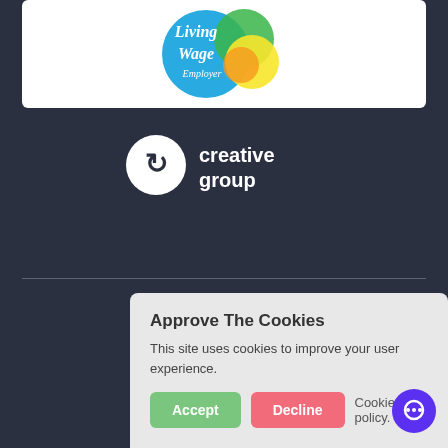[Figure (logo): Living Wage Employer logo — blue circle with 'Living Wage Employer' text, overlapping green, yellow, and orange circles]
[Figure (logo): Creative Group logo — white circle with 'c' arrow icon beside white text reading 'creative group']
Creative
Approve The Cookies
This site uses cookies to improve your user experience.
Accept   Decline   Cookie policy.